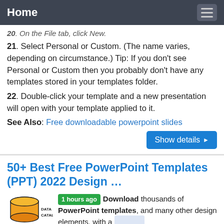Home
20. On the File tab, click New.
21. Select Personal or Custom. (The name varies, depending on circumstance.) Tip: If you don't see Personal or Custom then you probably don't have any templates stored in your templates folder.
22. Double-click your template and a new presentation will open with your template applied to it.
See Also: Free downloadable powerpoint slides
Show details ▶
50+ Best Free PowerPoint Templates (PPT) 2022 Design …
1 hours ago Download thousands of PowerPoint templates, and many other design elements, with a
[Figure (logo): Data Catalog logo with orange database cylinder icon and text DATA CATALOG]